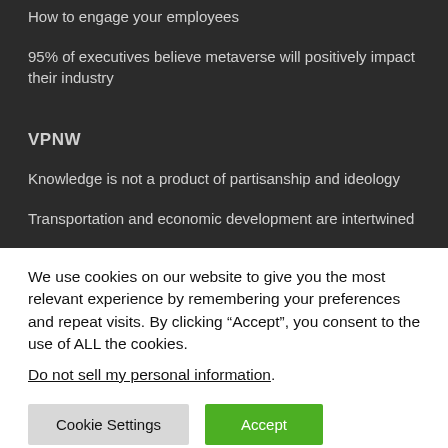How to engage your employees
95% of executives believe metaverse will positively impact their industry
VPNW
Knowledge is not a product of partisanship and ideology
Transportation and economic development are intertwined
We use cookies on our website to give you the most relevant experience by remembering your preferences and repeat visits. By clicking “Accept”, you consent to the use of ALL the cookies.
Do not sell my personal information.
Cookie Settings  Accept